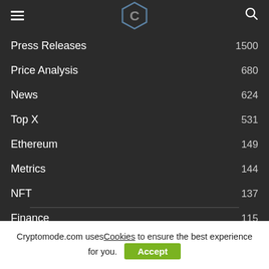Cryptomode logo navigation header
Press Releases 1500
Price Analysis 680
News 624
Top X 531
Ethereum 149
Metrics 144
NFT 137
Finance 115
Cryptomode.com uses Cookies to ensure the best experience for you.